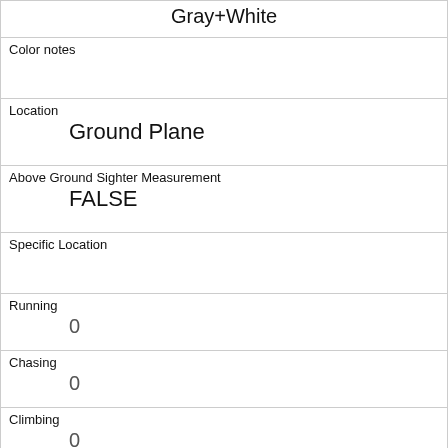| Gray+White |
| Color notes |  |
| Location | Ground Plane |
| Above Ground Sighter Measurement | FALSE |
| Specific Location |  |
| Running | 0 |
| Chasing | 0 |
| Climbing | 0 |
| Eating | 1 |
| Foraging | 1 |
| Other Activities | burying |